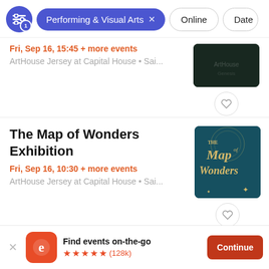Performing & Visual Arts  Online  Date
Fri, Sep 16, 15:45 + more events
ArtHouse Jersey at Capital House • Sai...
[Figure (photo): Photo thumbnail for first event listing]
The Map of Wonders Exhibition
Fri, Sep 16, 10:30 + more events
ArtHouse Jersey at Capital House • Sai...
[Figure (photo): The Map of Wonders promotional image with decorative text on dark teal background]
Find events on-the-go ★★★★★ (128k)  Continue